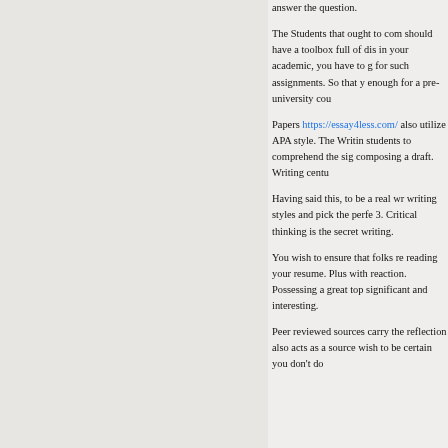answer the question.
The Students that ought to com should have a toolbox full of dis in your academic, you have to g for such assignments. So that y enough for a pre-university cou
Papers https://essay4less.com/ also utilize APA style. The Writin students to comprehend the sig composing a draft. Writing centu
Having said this, to be a real wr writing styles and pick the perfe 3. Critical thinking is the secret writing.
You wish to ensure that folks re reading your resume. Plus with reaction. Possessing a great top significant and interesting.
Peer reviewed sources carry the reflection also acts as a source wish to be certain you don't do